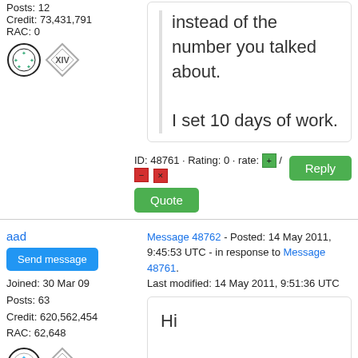Posts: 12
Credit: 73,431,791
RAC: 0
instead of the number you talked about.

I set 10 days of work.
ID: 48761 · Rating: 0 · rate: [+] / [-] [x]
Quote
Reply
aad
Send message
Joined: 30 Mar 09
Posts: 63
Credit: 620,562,454
RAC: 62,648
Message 48762 - Posted: 14 May 2011, 9:45:53 UTC - in response to Message 48761.
Last modified: 14 May 2011, 9:51:36 UTC
Hi

i only get 2 WU - 1/GPU (hd 5970), instead of the number you talked about.